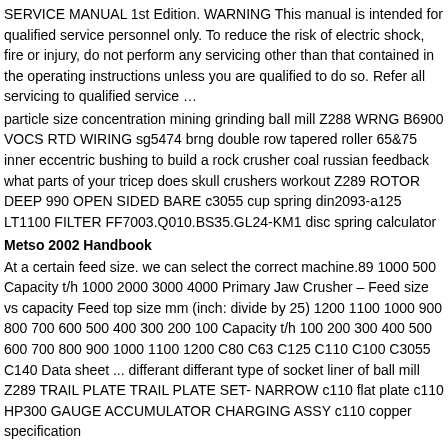SERVICE MANUAL 1st Edition. WARNING This manual is intended for qualified service personnel only. To reduce the risk of electric shock, fire or injury, do not perform any servicing other than that contained in the operating instructions unless you are qualified to do so. Refer all servicing to qualified service …
particle size concentration mining grinding ball mill Z288 WRNG B6900 VOCS RTD WIRING sg5474 brng double row tapered roller 65&75 inner eccentric bushing to build a rock crusher coal russian feedback
what parts of your tricep does skull crushers workout Z289 ROTOR DEEP 990 OPEN SIDED BARE c3055 cup spring din2093-a125 LT1100 FILTER FF7003.Q010.BS35.GL24-KM1 disc spring calculator
Metso 2002 Handbook
At a certain feed size. we can select the correct machine.89 1000 500 Capacity t/h 1000 2000 3000 4000 Primary Jaw Crusher – Feed size vs capacity Feed top size mm (inch: divide by 25) 1200 1100 1000 900 800 700 600 500 400 300 200 100 Capacity t/h 100 200 300 400 500 600 700 800 900 1000 1100 1200 C80 C63 C125 C110 C100 C3055 C140 Data sheet ... differant differant type of socket liner of ball mill Z289 TRAIL PLATE TRAIL PLATE SET- NARROW c110 flat plate c110 HP300 GAUGE ACCUMULATOR CHARGING ASSY c110 copper specification